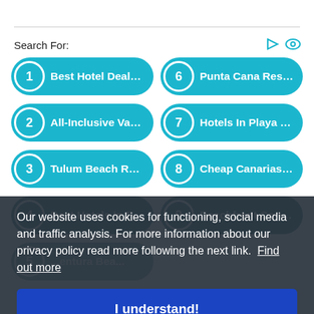Search For:
1 Best Hotel Deals F...
6 Punta Cana Resorts
2 All-Inclusive Vacati...
7 Hotels In Playa Bla...
3 Tulum Beach Reso...
8 Cheap Canarias H...
4 Best Hotels In Fuer...
9 Beachfront Condo...
5 [Lanzarote/Fuentura] Bea...
10 [partially visible]
Our website uses cookies for functioning, social media and traffic analysis. For more information about our privacy policy read more following the next link.  Find out more
I understand!